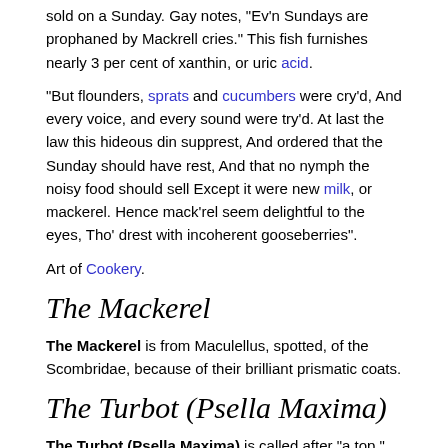sold on a Sunday. Gay notes, "Ev'n Sundays are prophaned by Mackrell cries." This fish furnishes nearly 3 per cent of xanthin, or uric acid.
"But flounders, sprats and cucumbers were cry'd, And every voice, and every sound were try'd. At last the law this hideous din supprest, And ordered that the Sunday should have rest, And that no nymph the noisy food should sell Except it were new milk, or mackerel. Hence mack'rel seem delightful to the eyes, Tho' drest with incoherent gooseberries".
Art of Cookery.
The Mackerel
The Mackerel is from Maculellus, spotted, of the Scombridae, because of their brilliant prismatic coats.
The Turbot (Psella Maxima)
The Turbot (Psella Maxima) is called after "a top," being also the Water pheasant (with a flavour of its flesh, like that of the game-bird).